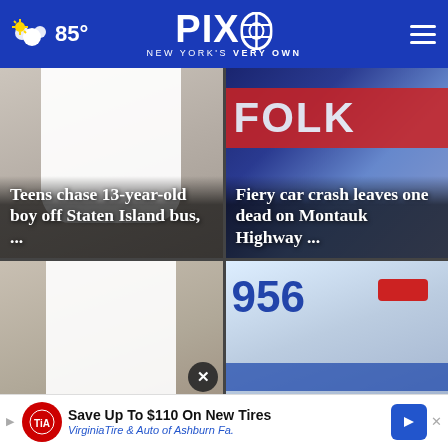85° PIX11 NEW YORK'S VERY OWN
[Figure (photo): Person in white t-shirt, news card photo for Staten Island bus story]
Teens chase 13-year-old boy off Staten Island bus, ...
[Figure (photo): Police/emergency vehicle with FOLK lettering, fiery crash story]
Fiery car crash leaves one dead on Montauk Highway ...
[Figure (photo): Man in white t-shirt walking, Brooklyn assault story]
Brooklyn ass... suc...
[Figure (photo): USPS mail truck / ambulance side panel with number 956]
Save Up To $110 On New Tires
VirginiaTire & Auto of Ashburn Fa.